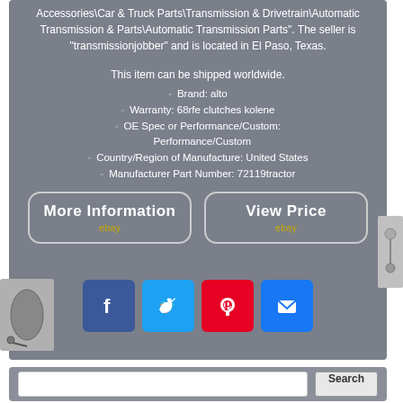Accessories\Car & Truck Parts\Transmission & Drivetrain\Automatic Transmission & Parts\Automatic Transmission Parts". The seller is "transmissionjobber" and is located in El Paso, Texas.
This item can be shipped worldwide.
Brand: alto
Warranty: 68rfe clutches kolene
OE Spec or Performance/Custom: Performance/Custom
Country/Region of Manufacture: United States
Manufacturer Part Number: 72119tractor
[Figure (screenshot): Two eBay buttons: 'More Information' and 'View Price']
[Figure (infographic): Social media share buttons: Facebook, Twitter, Pinterest, Email]
[Figure (screenshot): Search bar at the bottom with a Search button]